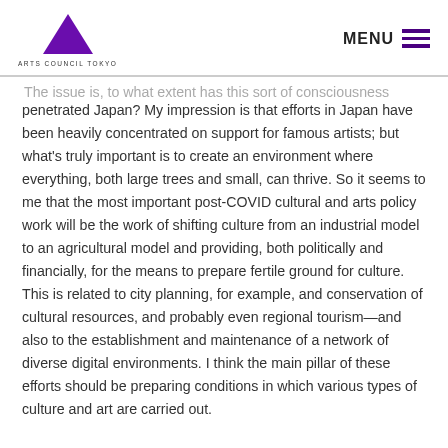ARTS COUNCIL TOKYO | MENU
penetrated Japan? My impression is that efforts in Japan have been heavily concentrated on support for famous artists; but what's truly important is to create an environment where everything, both large trees and small, can thrive. So it seems to me that the most important post-COVID cultural and arts policy work will be the work of shifting culture from an industrial model to an agricultural model and providing, both politically and financially, for the means to prepare fertile ground for culture. This is related to city planning, for example, and conservation of cultural resources, and probably even regional tourism—and also to the establishment and maintenance of a network of diverse digital environments. I think the main pillar of these efforts should be preparing conditions in which various types of culture and art are carried out.